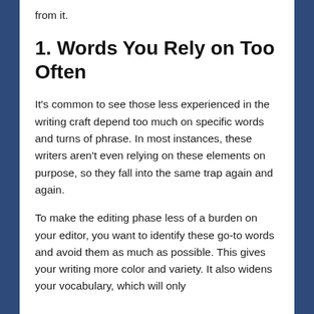from it.
1. Words You Rely on Too Often
It’s common to see those less experienced in the writing craft depend too much on specific words and turns of phrase. In most instances, these writers aren’t even relying on these elements on purpose, so they fall into the same trap again and again.
To make the editing phase less of a burden on your editor, you want to identify these go-to words and avoid them as much as possible. This gives your writing more color and variety. It also widens your vocabulary, which will only